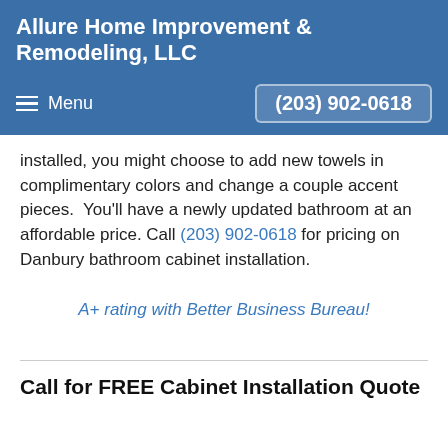Allure Home Improvement & Remodeling, LLC
Menu  (203) 902-0618
installed, you might choose to add new towels in complimentary colors and change a couple accent pieces. You'll have a newly updated bathroom at an affordable price. Call (203) 902-0618 for pricing on Danbury bathroom cabinet installation.
A+ rating with Better Business Bureau!
Call for FREE Cabinet Installation Quote